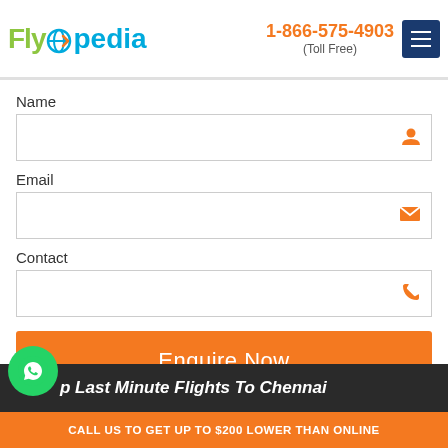Flyopedia | 1-866-575-4903 (Toll Free)
Name
Email
Contact
Enquire Now
Cheap Last Minute Flights To Chennai
CALL US TO GET UP TO $200 LOWER THAN ONLINE